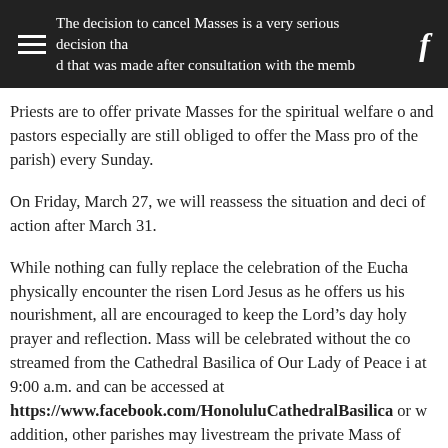The decision to cancel Masses is a very serious decision that was made after consultation with the members of... Priests are to offer private Masses for the spiritual welfare of the faithful...
Priests are to offer private Masses for the spiritual welfare of... and pastors especially are still obliged to offer the Mass pro... of the parish) every Sunday.
On Friday, March 27, we will reassess the situation and decide... of action after March 31.
While nothing can fully replace the celebration of the Eucha... physically encounter the risen Lord Jesus as he offers us his... nourishment, all are encouraged to keep the Lord’s day holy... prayer and reflection. Mass will be celebrated without the co... streamed from the Cathedral Basilica of Our Lady of Peace i... at 9:00 a.m. and can be accessed at https://www.facebook.com/HonoluluCathedralBasilica or w... addition, other parishes may livestream the private Mass of... parish’s website to see if this service is offered. EWTN (Eter... Network – Channel 30 for cable customers; Channel 261 fo...